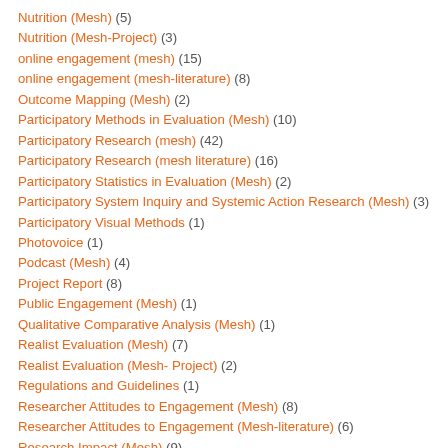Nutrition (Mesh) (5)
Nutrition (Mesh-Project) (3)
online engagement (mesh) (15)
online engagement (mesh-literature) (8)
Outcome Mapping (Mesh) (2)
Participatory Methods in Evaluation (Mesh) (10)
Participatory Research (mesh) (42)
Participatory Research (mesh literature) (16)
Participatory Statistics in Evaluation (Mesh) (2)
Participatory System Inquiry and Systemic Action Research (Mesh) (3)
Participatory Visual Methods (1)
Photovoice (1)
Podcast (Mesh) (4)
Project Report (8)
Public Engagement (Mesh) (1)
Qualitative Comparative Analysis (Mesh) (1)
Realist Evaluation (Mesh) (7)
Realist Evaluation (Mesh- Project) (2)
Regulations and Guidelines (1)
Researcher Attitudes to Engagement (Mesh) (8)
Researcher Attitudes to Engagement (Mesh-literature) (6)
Research Impact (Mesh) (9)